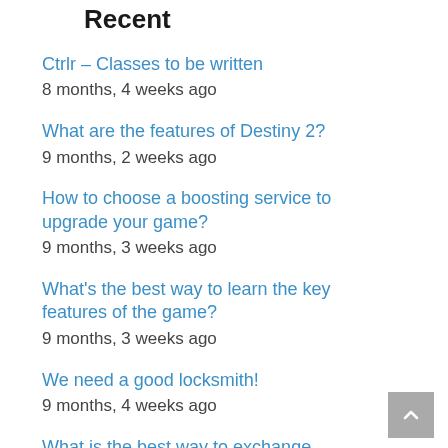Recent
Ctrlr – Classes to be written
8 months, 4 weeks ago
What are the features of Destiny 2?
9 months, 2 weeks ago
How to choose a boosting service to upgrade your game?
9 months, 3 weeks ago
What's the best way to learn the key features of the game?
9 months, 3 weeks ago
We need a good locksmith!
9 months, 4 weeks ago
What is the best way to exchange cryptocurrency?
10 months ago